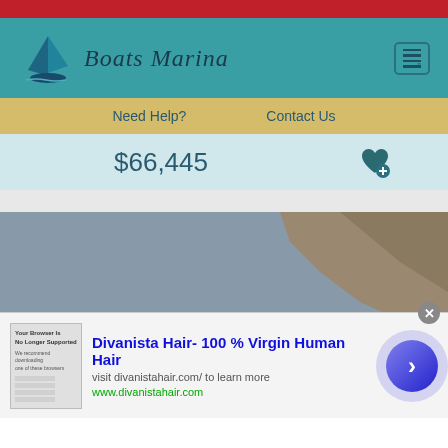[Figure (screenshot): Website screenshot of Boats Marina listing page showing logo, navigation bar with Need Help? and Contact Us links, price of $66,445 with a heart/save icon, and a photo of a white sport boat on water near rocky cliffs. An infolinks badge and an ad overlay for Divanista Hair are visible at the bottom.]
Boats Marina
Need Help?    Contact Us
$66,445
Divanista Hair- 100 % Virgin Human Hair
visit divanistahair.com/ to learn more
www.divanistahair.com